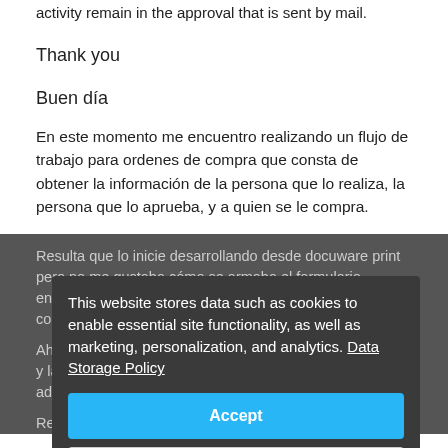activity remain in the approval that is sent by mail.
Thank you
Buen día
En este momento me encuentro realizando un flujo de trabajo para ordenes de compra que consta de obtener la información de la persona que lo realiza, la persona que lo aprueba, y a quien se le compra.
Resulta que lo inicie desarrollando desde docuware print pero no me gustaba cómo se armaba el formulario, entonces lo desplace a docuware forms,  tengo todo lo correctamente de la relación de la columna en excel.
Ahora estoy realizando la obtención de datos desde form, y la relación de lo que se va comprar con la opción de adjunto.
Resulta que en este momento tengo los siguientes problemas:
This website stores data such as cookies to enable essential site functionality, as well as marketing, personalization, and analytics. Data Storage Policy
Accept
Deny